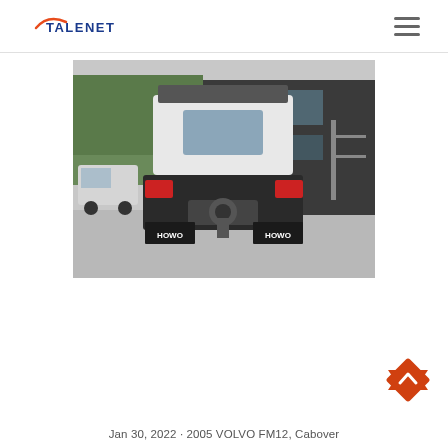TALENET
[Figure (photo): Rear view of a HOWO truck tractor parked in a yard in front of a dark industrial building with trees in the background. The truck is white and black with HOWO branding visible on the rear mud flaps.]
Jan 30, 2022 · 2005 VOLVO FM12, Cabover